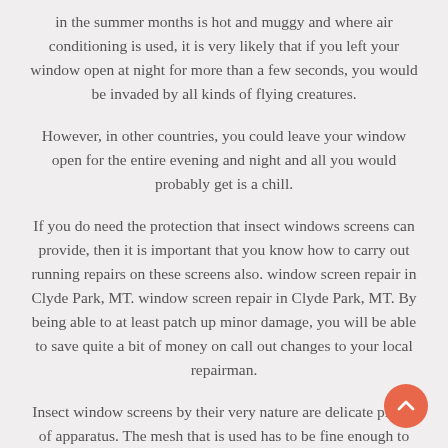in the summer months is hot and muggy and where air conditioning is used, it is very likely that if you left your window open at night for more than a few seconds, you would be invaded by all kinds of flying creatures.
However, in other countries, you could leave your window open for the entire evening and night and all you would probably get is a chill.
If you do need the protection that insect windows screens can provide, then it is important that you know how to carry out running repairs on these screens also. window screen repair in Clyde Park, MT. window screen repair in Clyde Park, MT. By being able to at least patch up minor damage, you will be able to save quite a bit of money on call out changes to your local repairman.
Insect window screens by their very nature are delicate pieces of apparatus. The mesh that is used has to be fine enough to stop very small insect from entering your home and yet has to be able to allow light and air to get in.